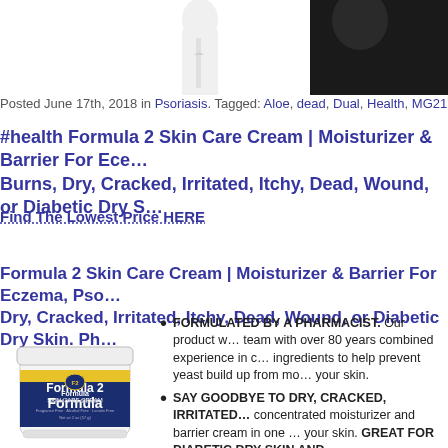[Figure (photo): Partial image at top of page showing a white background with partial view of a person wearing black clothing]
Posted June 17th, 2018 in Psoriasis. Tagged: Aloe, dead, Dual, Health, MG217, Oun…
#health Formula 2 Skin Care Cream | Moisturizer & Barrier For Eczema, Burns, Dry, Cracked, Irritated, Itchy, Dead, Wound, or Diabetic Dry S…
Find The Lowest Price HERE
Formula 2 Skin Care Cream | Moisturizer & Barrier For Eczema, Pso… Dry, Cracked, Irritated, Itchy, Dead, Wound, or Diabetic Dry Skin. Ph…
[Figure (photo): Product image of Formula 2 Skin Care Cream jar with blue and yellow label]
FORMULATED BY A PHARMACIST. Our product w… team with over 80 years combined experience in c… ingredients to help prevent yeast build up from mo… your skin.
SAY GOODBYE TO DRY, CRACKED, IRRITATED… concentrated moisturizer and barrier cream in one … your skin. GREAT FOR DIABETIC DRY SKIN AND…
A POWERFUL BARRIER WITH NO ZINC OXIDE… functions as an excellent barrier cream without the…